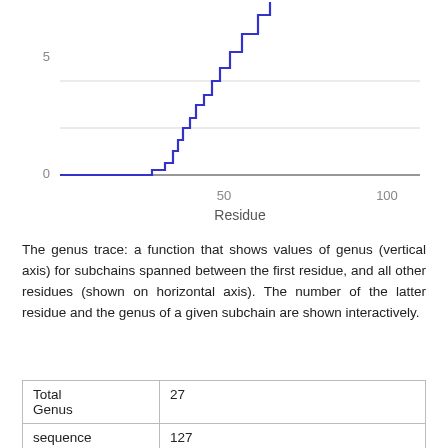[Figure (continuous-plot): A genus trace line chart showing values of genus (vertical axis, 0 to 5+) for subchains spanned between the first residue and all other residues (horizontal axis, 0 to ~110). The blue step-like line starts near 0, stays flat until about residue 30, then rises in steps reaching above 5 near residue 50, continuing to rise steeply beyond.]
The genus trace: a function that shows values of genus (vertical axis) for subchains spanned between the first residue, and all other residues (shown on horizontal axis). The number of the latter residue and the genus of a given subchain are shown interactively.
| Total Genus | 27 |
| sequence | 127 |